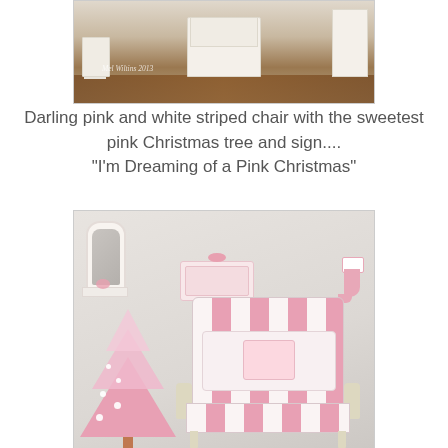[Figure (photo): Interior room photo showing white French provincial furniture including a cabinet/hutch in the center, a small side table on the left, and a white bookshelf on the right, all on a dark hardwood floor. Watermark reads 'Mel Wiltins 2013'.]
Darling pink and white striped chair with the sweetest pink Christmas tree and sign.... "I'm Dreaming of a Pink Christmas"
[Figure (photo): Interior room with soft beige/pink walls featuring a pink Christmas tree decorated with white and pink ornaments in the lower left, a white ornate mirror on the wall left, a pink decorative sign on the wall center, a pink striped stocking hanging on the right wall, and a pink and white vertically-striped French provincial chair with a decorative pillow, in the lower right.]